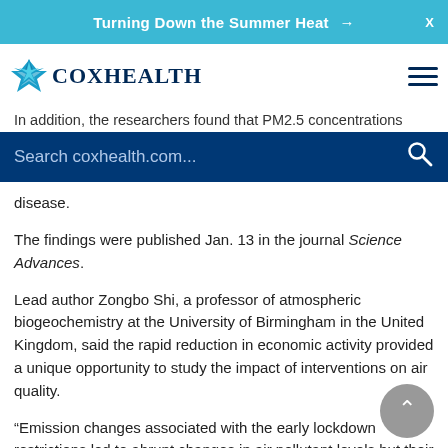Turning Down the Summer Heat →   X
[Figure (logo): CoxHealth logo with star/diamond icon and text 'CoxHealth' in navy blue, plus hamburger menu icon]
In addition, the researchers found that PM2.5 concentrations
Search coxhealth.com...
disease.
The findings were published Jan. 13 in the journal Science Advances.
Lead author Zongbo Shi, a professor of atmospheric biogeochemistry at the University of Birmingham in the United Kingdom, said the rapid reduction in economic activity provided a unique opportunity to study the impact of interventions on air quality.
“Emission changes associated with the early lockdown restrictions led to abrupt changes in air pollutant levels but their impacts on air quality were more complex than we thought, and smaller than we expected,” he said in a